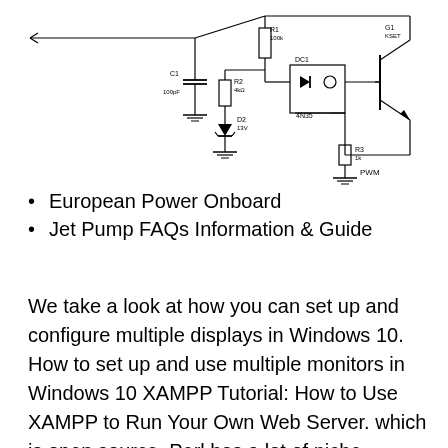[Figure (circuit-diagram): Electronic circuit schematic showing components including capacitor C1 (100pF), resistors R1 (100k), R2 (4k), R3 (1k), diode D2 (13V zener), optocoupler DC1, transistor G1 (IGBT/KGET), and PWM label at bottom ground. Wires connect from left input through the components to transistor output on right.]
European Power Onboard
Jet Pump FAQs Information & Guide
We take a look at how you can set up and configure multiple displays in Windows 10. How to set up and use multiple monitors in Windows 10 XAMPP Tutorial: How to Use XAMPP to Run Your Own Web Server. which is open source, Perl has a lot of niche applications.